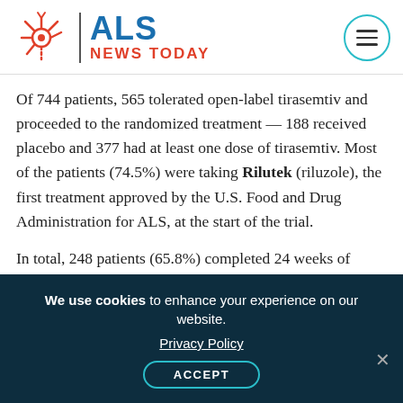ALS News Today
Of 744 patients, 565 tolerated open-label tirasemtiv and proceeded to the randomized treatment — 188 received placebo and 377 had at least one dose of tirasemtiv. Most of the patients (74.5%) were taking Rilutek (riluzole), the first treatment approved by the U.S. Food and Drug Administration for ALS, at the start of the trial.
In total, 248 patients (65.8%) completed 24 weeks of treatment with tirasemtiv and 204 patients (54.1%) 48 weeks. In the placebo group, 165 patients (87.8%) completed 24 weeks of treatment,
We use cookies to enhance your experience on our website. Privacy Policy ACCEPT